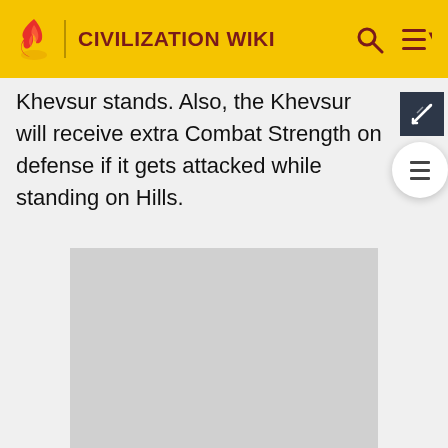CIVILIZATION WIKI
Khevsur stands. Also, the Khevsur will receive extra Combat Strength on defense if it gets attacked while standing on Hills.
[Figure (other): Gray advertisement placeholder rectangle]
ADVERTISEMENT